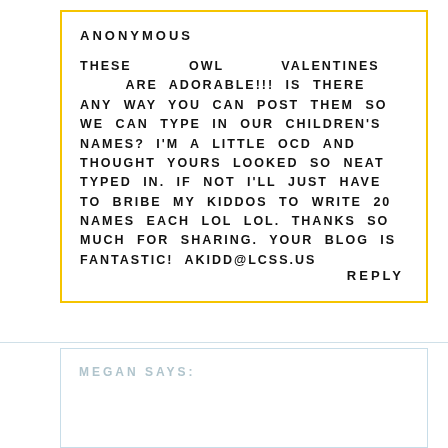ANONYMOUS
THESE OWL VALENTINES ARE ADORABLE!!! IS THERE ANY WAY YOU CAN POST THEM SO WE CAN TYPE IN OUR CHILDREN'S NAMES? I'M A LITTLE OCD AND THOUGHT YOURS LOOKED SO NEAT TYPED IN. IF NOT I'LL JUST HAVE TO BRIBE MY KIDDOS TO WRITE 20 NAMES EACH LOL LOL. THANKS SO MUCH FOR SHARING. YOUR BLOG IS FANTASTIC! AKIDD@LCSS.US
REPLY
MEGAN SAYS: